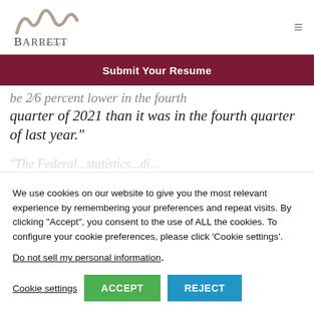[Figure (logo): Barrett Group logo with stylized wave/script mark above the text 'Barrett Group']
Submit Your Resume
be 2/6 percent lower in the fourth quarter of 2021 than it was in the fourth quarter of last year.”
The Federal...statistics...di...
We use cookies on our website to give you the most relevant experience by remembering your preferences and repeat visits. By clicking “Accept”, you consent to the use of ALL the cookies. To configure your cookie preferences, please click ‘Cookie settings’.
Do not sell my personal information.
Cookie settings
ACCEPT
REJECT